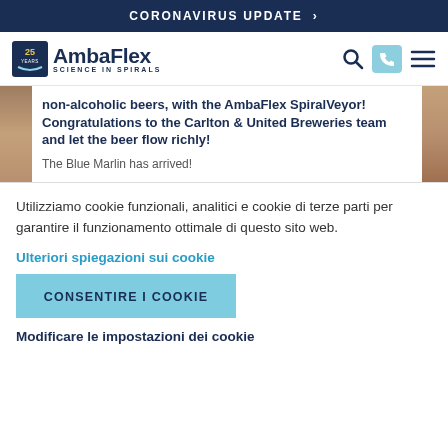CORONAVIRUS UPDATE >
[Figure (logo): AmbaFlex logo with '25 Years' badge and tagline 'Science in Spirals']
non-alcoholic beers, with the AmbaFlex SpiralVeyor! Congratulations to the Carlton & United Breweries team and let the beer flow richly!

The Blue Marlin has arrived!
Utilizziamo cookie funzionali, analitici e cookie di terze parti per garantire il funzionamento ottimale di questo sito web.
Ulteriori spiegazioni sui cookie
CONSENTIRE I COOKIE
Modificare le impostazioni dei cookie